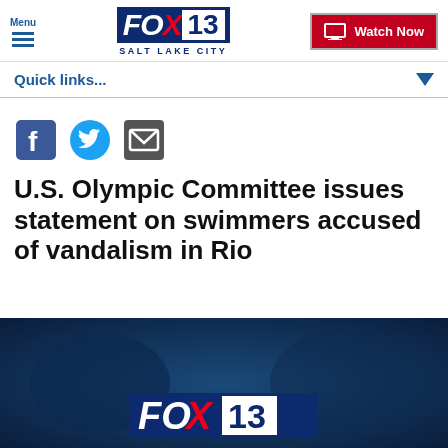Menu | FOX 13 SALT LAKE CITY | Watch Now
Quick links...
[Figure (infographic): Social media share icons: Facebook, Twitter, Email]
U.S. Olympic Committee issues statement on swimmers accused of vandalism in Rio
[Figure (screenshot): Dark blue image with FOX 13 logo overlay, appears to be a video thumbnail]